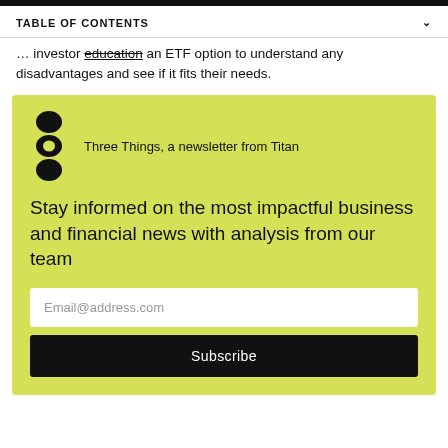TABLE OF CONTENTS
… investor education an ETF option to understand any disadvantages and see if it fits their needs.
[Figure (infographic): Newsletter signup box with Titan logo (three stacked circles), tagline 'Three Things, a newsletter from Titan', headline 'Stay informed on the most impactful business and financial news with analysis from our team', email input field, and Subscribe button.]